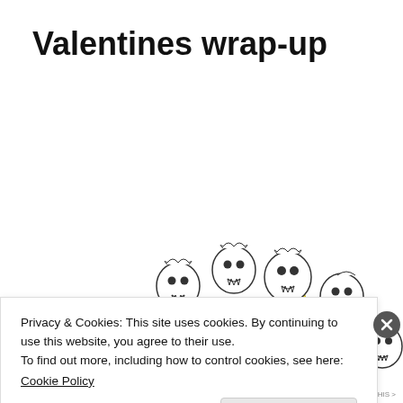Valentines wrap-up
[Figure (illustration): Hand-drawn illustration of multiple cartoon skull characters arranged in an arch/circle, some with bows or accessories, with a yellow flame-like element in the lower right area. Black and white line drawing with yellow color accent.]
Privacy & Cookies: This site uses cookies. By continuing to use this website, you agree to their use.
To find out more, including how to control cookies, see here:
Cookie Policy
Close and accept